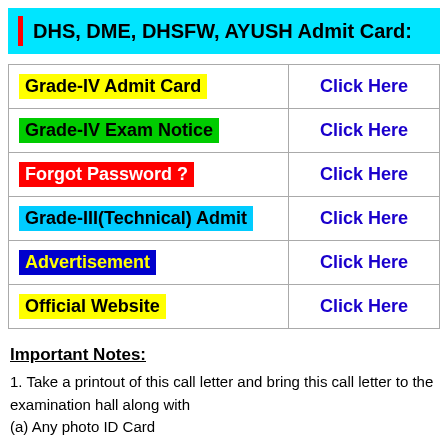DHS, DME, DHSFW, AYUSH Admit Card:
| Item | Link |
| --- | --- |
| Grade-IV Admit Card | Click Here |
| Grade-IV Exam Notice | Click Here |
| Forgot Password ? | Click Here |
| Grade-III(Technical) Admit | Click Here |
| Advertisement | Click Here |
| Official Website | Click Here |
Important Notes:
1. Take a printout of this call letter and bring this call letter to the examination hall along with (a) Any photo ID Card